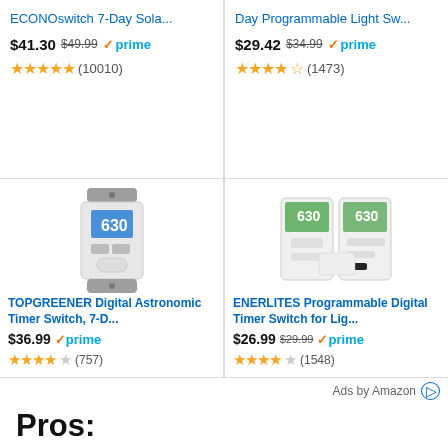[Figure (screenshot): Amazon product listing card - ECONOswitch 7-Day Sola... priced at $41.30, originally $49.99, Prime eligible, 4.5 stars (10010 reviews)]
[Figure (screenshot): Amazon product listing card - Day Programmable Light Sw... priced at $29.42, originally $34.99, Prime eligible, 4 stars (1473 reviews)]
[Figure (photo): TOPGREENER Digital Astronomic Timer Switch product photo]
TOPGREENER Digital Astronomic Timer Switch, 7-D...
$36.99 prime (757 reviews)
[Figure (photo): ENERLITES Programmable Digital Timer Switch product photo]
ENERLITES Programmable Digital Timer Switch for Lig...
$26.99 $29.99 prime (1548 reviews)
Ads by Amazon
Pros:
The three-button interface lets you